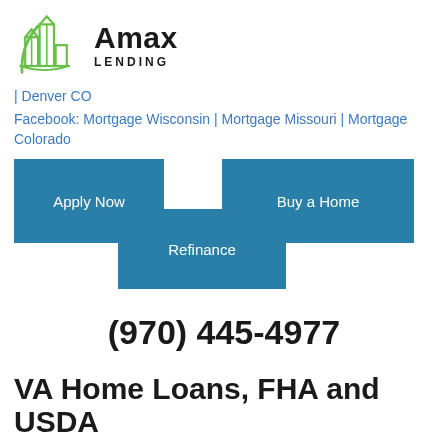[Figure (logo): Amax Lending logo with green building/city skyline icon and bold 'Amax' text with 'LENDING' subtitle]
| Denver CO
Facebook: Mortgage Wisconsin | Mortgage Missouri | Mortgage Colorado
[Figure (infographic): Three teal/blue buttons: 'Apply Now', 'Buy a Home', and 'Refinance' arranged in a staggered overlapping layout]
(970) 445-4977
VA Home Loans, FHA and USDA